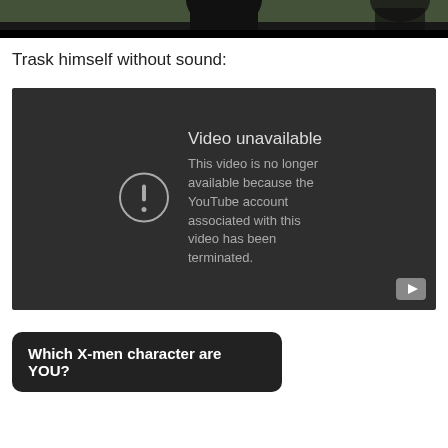[Figure (screenshot): Top portion of a video player showing a dark silhouette figure against a light outdoor background, partially cropped]
Trask himself without sound:
[Figure (screenshot): Embedded YouTube video player showing 'Video unavailable' error message. Text reads: 'Video unavailable. This video is no longer available because the YouTube account associated with this video has been terminated.' A YouTube play button icon is visible in the bottom right corner.]
Which X-men character are YOU?